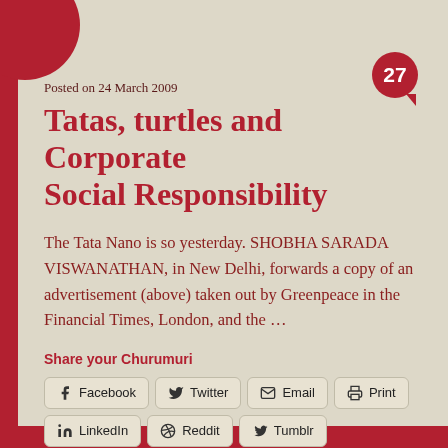Posted on 24 March 2009
Tatas, turtles and Corporate Social Responsibility
The Tata Nano is so yesterday. SHOBHA SARADA VISWANATHAN, in New Delhi, forwards a copy of an advertisement (above) taken out by Greenpeace in the Financial Times, London, and the …
Share your Churumuri
Facebook
Twitter
Email
Print
LinkedIn
Reddit
Tumblr
Pinterest
Pocket
Telegram
WhatsApp
Skype
Like this: